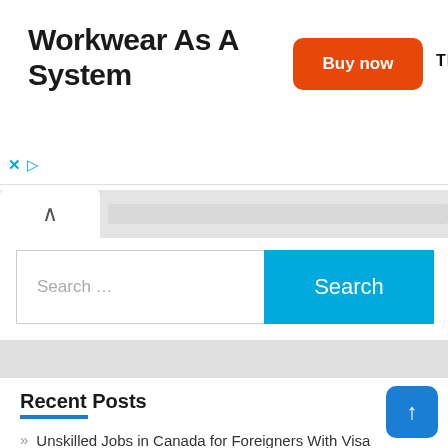[Figure (other): Advertisement banner for Truewerk workwear with title 'Workwear As A System', an orange 'Buy now' button, and the TRUEWERK logo. Ad close (x) and play controls visible below.]
[Figure (screenshot): Browser tab/navigation area showing a collapse/up-arrow tab button on a gray bar.]
[Figure (screenshot): Search bar with placeholder text 'Search ...' and a blue 'Search' button.]
Recent Posts
Unskilled Jobs in Canada for Foreigners With Visa Sponsorship 2022 – APPLY NOW!
Caregiver Jobs in Canada for Foreigners with Sponsorship – APPLY NOW!